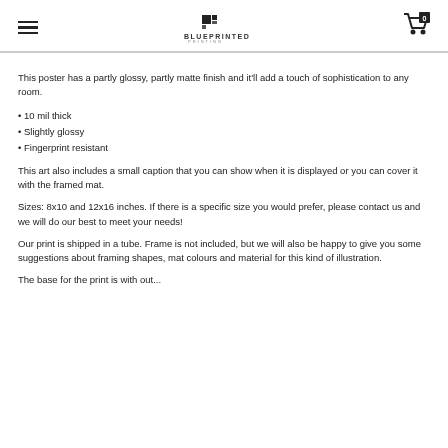BLUEPRINTED
This poster has a partly glossy, partly matte finish and it'll add a touch of sophistication to any room.
• 10 mil thick
• Slightly glossy
• Fingerprint resistant
This art also includes a small caption that you can show when it is displayed or you can cover it with the framed mat.
Sizes: 8x10 and 12x16 inches. If there is a specific size you would prefer, please contact us and we will do our best to meet your needs!
Our print is shipped in a tube. Frame is not included, but we will also be happy to give you some suggestions about framing shapes, mat colours and material for this kind of illustration.
The base for the print is with out...